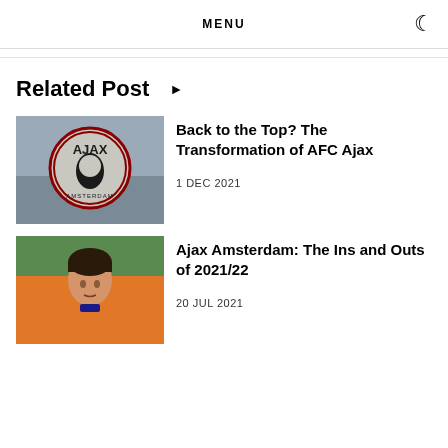MENU
Related Post ▶
[Figure (photo): Ajax Amsterdam club badge/logo on a building exterior]
Back to the Top? The Transformation of AFC Ajax
1 DEC 2021
[Figure (photo): Ajax player in orange Netherlands national team jersey]
Ajax Amsterdam: The Ins and Outs of 2021/22
20 JUL 2021